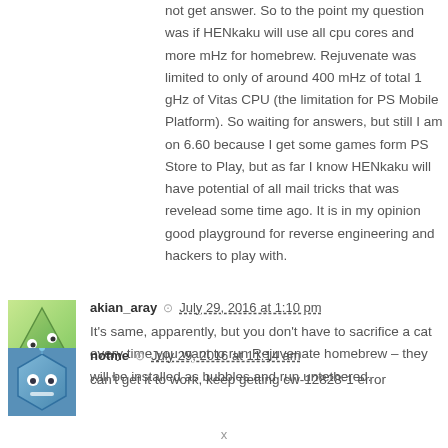not get answer. So to the point my question was if HENkaku will use all cpu cores and more mHz for homebrew. Rejuvenate was limited to only of around 400 mHz of total 1 gHz of Vitas CPU (the limitation for PS Mobile Platform). So waiting for answers, but still I am on 6.60 because I get some games form PS Store to Play, but as far I know HENkaku will have potential of all mail tricks that was revelead some time ago. It is in my opinion good playground for reverse engineering and hackers to play with.
akian_aray  July 29, 2016 at 1:10 pm
It's same, apparently, but you don't have to sacrifice a cat every time you want to run Rejuvenate homebrew – they will be installed as bubbles and run untethered.
notme  July 29, 2016 at 11:14 am
can't get it to work, keep getting cw-12828-1 error